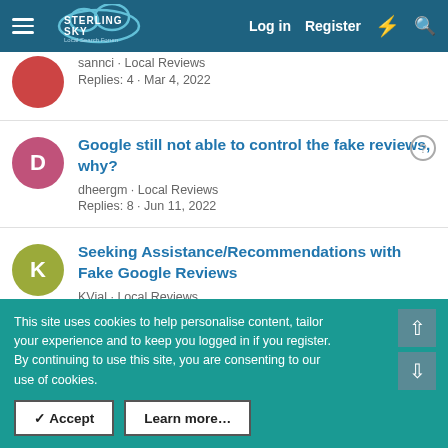Sterling Sky Local Search Forum — Log in | Register
sannci · Local Reviews
Replies: 4 · Mar 4, 2022
Google still not able to control the fake reviews, why?
dheergm · Local Reviews
Replies: 8 · Jun 11, 2022
Seeking Assistance/Recommendations with Fake Google Reviews
KVial · Local Reviews
Replies: 2 · Feb 28, 2022
Customer left Negative Review Across Multiple...
This site uses cookies to help personalise content, tailor your experience and to keep you logged in if you register.
By continuing to use this site, you are consenting to our use of cookies.
✓ Accept   Learn more…